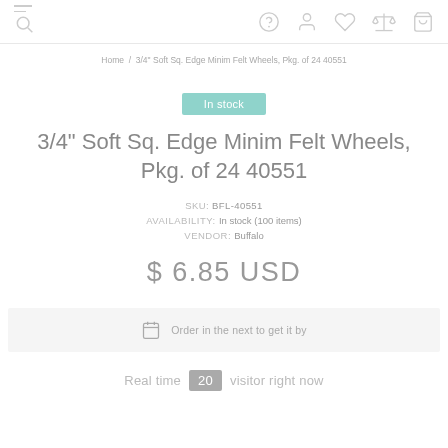Navigation header with menu, search, help, user, wishlist, compare, cart icons
Home / 3/4" Soft Sq. Edge Minim Felt Wheels, Pkg. of 24 40551
In stock
3/4" Soft Sq. Edge Minim Felt Wheels, Pkg. of 24 40551
SKU: BFL-40551
AVAILABILITY: In stock (100 items)
VENDOR: Buffalo
$ 6.85 USD
Order in the next to get it by
Real time 20 visitor right now